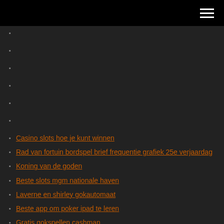Casino slots hoe je kunt winnen
Rad van fortuin bordspel brief frequentie grafiek 25e verjaardag
Koning van de goden
Beste slots mgm nationale haven
Laverne en shirley gokautomaat
Beste app om poker ipad te leren
Gratis gokspellen cashman